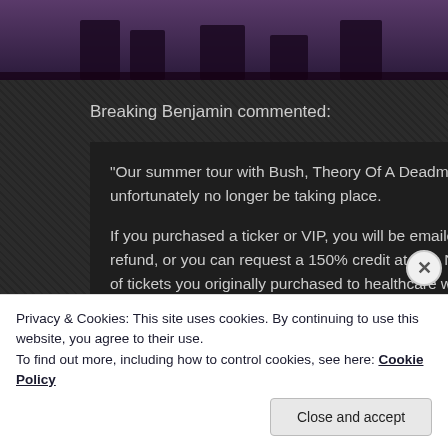[Figure (photo): Partial photo of band members (silhouettes/legs visible), cut off at top of page]
Breaking Benjamin commented:
“Our summer tour with Bush, Theory Of A Deadman, Saint Asonia and Co... unfortunately no longer be taking place.

If you purchased a ticker or VIP, you will be emailed directly with refund o... refund, or you can request a 150% credit at Live Nation venues + they wi... of tickets you originally purchased to healthcare workers on the front lines...

For more details, visit livenation.com/refund. Thank you for understanding... for touring updates in 2021. We will be back as soon as it’s safe to do so!
Privacy & Cookies: This site uses cookies. By continuing to use this website, you agree to their use.
To find out more, including how to control cookies, see here: Cookie Policy
Close and accept